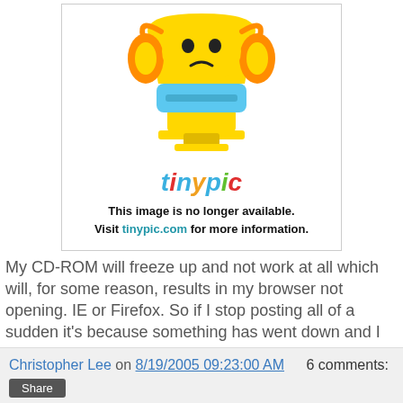[Figure (illustration): Tinypic.com placeholder image showing their mascot (trophy-shaped character with orange ears and blue body) and the tinypic logo, with text: This image is no longer available. Visit tinypic.com for more information.]
My CD-ROM will freeze up and not work at all which will, for some reason, results in my browser not opening. IE or Firefox. So if I stop posting all of a sudden it's because something has went down and I don't know when, or if, I'll be able to fix it.
The Only Thing Necessary For Evil To Triumph
Is For Good Men To Do Nothing
Christopher Lee on 8/19/2005 09:23:00 AM   6 comments: